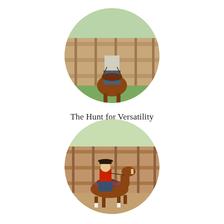[Figure (photo): Circular cropped photo of a rider on a chestnut horse facing the camera, with a wooden fence and green grass in the background.]
The Hunt for Versatility
[Figure (photo): Circular cropped photo of a rider in a red shirt and cowboy hat on a chestnut horse moving along a dirt arena with a wooden fence in the background.]
4 Ways to Improve Your Stop